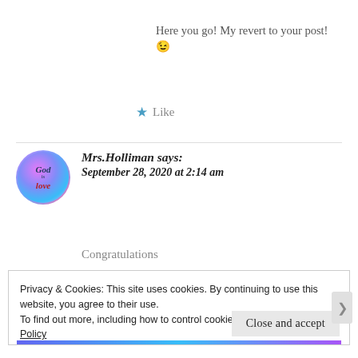Here you go! My revert to your post! 😉
★ Like
Mrs.Holliman says: September 28, 2020 at 2:14 am
Congratulations
Privacy & Cookies: This site uses cookies. By continuing to use this website, you agree to their use.
To find out more, including how to control cookies, see here: Cookie Policy
Close and accept